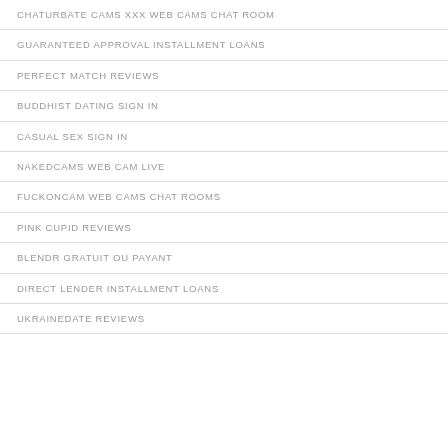CHATURBATE CAMS XXX WEB CAMS CHAT ROOM
GUARANTEED APPROVAL INSTALLMENT LOANS
PERFECT MATCH REVIEWS
BUDDHIST DATING SIGN IN
CASUAL SEX SIGN IN
NAKEDCAMS WEB CAM LIVE
FUCKONCAM WEB CAMS CHAT ROOMS
PINK CUPID REVIEWS
BLENDR GRATUIT OU PAYANT
DIRECT LENDER INSTALLMENT LOANS
UKRAINEDATE REVIEWS